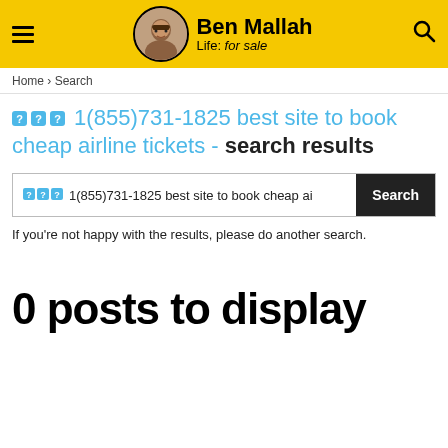Ben Mallah — Life: for sale
Home › Search
◆◆◆ 1(855)731-1825 best site to book cheap airline tickets - search results
◆◆◆ 1(855)731-1825 best site to book cheap ai [Search]
If you're not happy with the results, please do another search.
0 posts to display